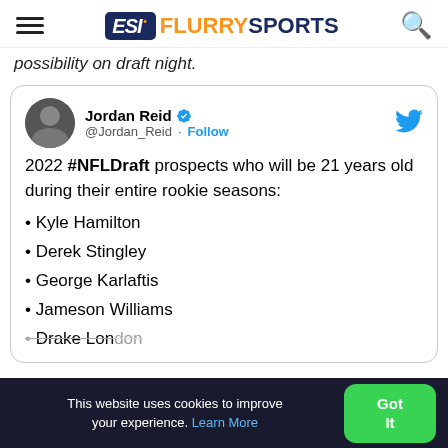ESI FlurrySports
possibility on draft night.
[Figure (screenshot): Tweet by Jordan Reid (@Jordan_Reid) with Follow button and Twitter bird icon. Text: '2022 #NFLDraft prospects who will be 21 years old during their entire rookie seasons: • Kyle Hamilton • Derek Stingley • George Karlaftis • Jameson Williams • Drake London']
This website uses cookies to improve your experience. Learn More
Got It